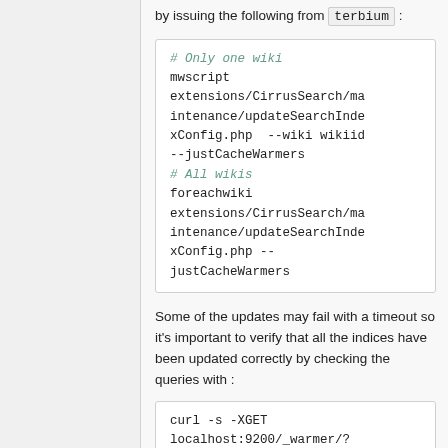by issuing the following from terbium :
# Only one wiki
mwscript extensions/CirrusSearch/maintenance/updateSearchIndexConfig.php  --wiki wikiid --justCacheWarmers
# All wikis
foreachwiki extensions/CirrusSearch/maintenance/updateSearchIndexConfig.php --justCacheWarmers
Some of the updates may fail with a timeout so it's important to verify that all the indices have been updated correctly by checking the queries with :
curl -s -XGET localhost:9200/_warmer/?